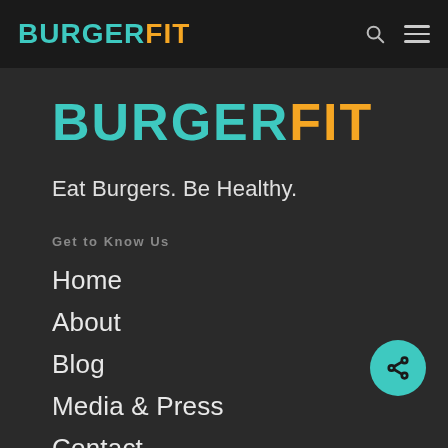BURGERFIT (navigation bar with search and menu icons)
BURGERFIT
Eat Burgers. Be Healthy.
Get to Know Us
Home
About
Blog
Media & Press
Contact
Affiliate and Sponsorship